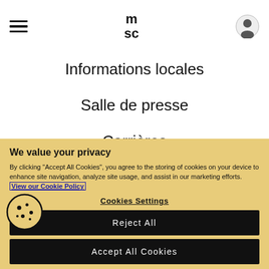[Figure (logo): MSC logo with hamburger menu and user icon in top navigation bar]
Informations locales
Salle de presse
Carrières
Nous contacter
[Figure (illustration): Four circular social media icons (Facebook, Twitter/X, Instagram, and another) partially visible]
We value your privacy
By clicking "Accept All Cookies", you agree to the storing of cookies on your device to enhance site navigation, analyze site usage, and assist in our marketing efforts. View our Cookie Policy
Cookies Settings
Reject All
Accept All Cookies